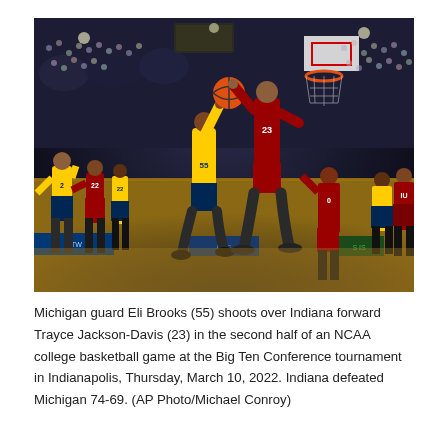[Figure (photo): Basketball game action photo: Michigan guard Eli Brooks (55) shoots over Indiana forward Trayce Jackson-Davis (23) during the Big Ten Conference tournament at an indoor arena. Players in yellow (Michigan) and red (Indiana) uniforms. Indoor arena with crowd in background.]
Michigan guard Eli Brooks (55) shoots over Indiana forward Trayce Jackson-Davis (23) in the second half of an NCAA college basketball game at the Big Ten Conference tournament in Indianapolis, Thursday, March 10, 2022. Indiana defeated Michigan 74-69. (AP Photo/Michael Conroy)